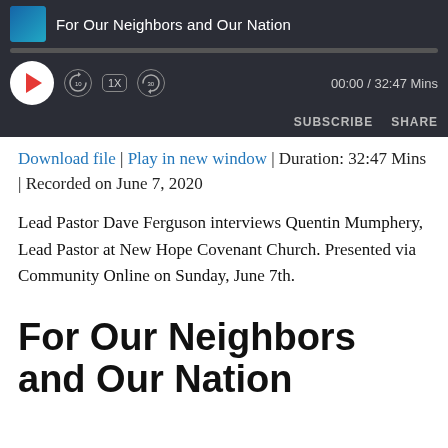[Figure (screenshot): Audio player widget with dark background showing podcast episode 'For Our Neighbors and Our Nation'. Controls include play button, rewind 10s, 1X speed, forward 30s, time display showing 00:00 / 32:47 Mins, SUBSCRIBE and SHARE buttons.]
Download file | Play in new window | Duration: 32:47 Mins | Recorded on June 7, 2020
Lead Pastor Dave Ferguson interviews Quentin Mumphery, Lead Pastor at New Hope Covenant Church. Presented via Community Online on Sunday, June 7th.
For Our Neighbors and Our Nation